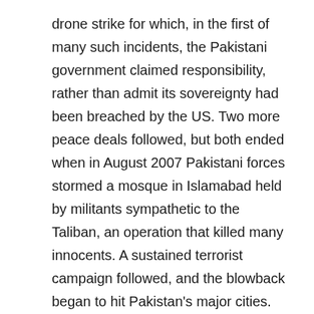drone strike for which, in the first of many such incidents, the Pakistani government claimed responsibility, rather than admit its sovereignty had been breached by the US. Two more peace deals followed, but both ended when in August 2007 Pakistani forces stormed a mosque in Islamabad held by militants sympathetic to the Taliban, an operation that killed many innocents. A sustained terrorist campaign followed, and the blowback began to hit Pakistan's major cities. In response, the military expanded its operations into other agencies including Bajaur, Mohmand and Khyber. The fighting was intense, and neither side gave quarter. Millions were displaced, and anger against the government grew.